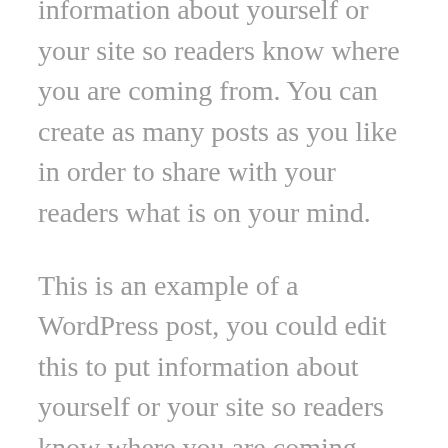information about yourself or your site so readers know where you are coming from. You can create as many posts as you like in order to share with your readers what is on your mind.
This is an example of a WordPress post, you could edit this to put information about yourself or your site so readers know where you are coming from. You can create as many posts as you like in order to share with your readers what is on your mind. This is an example of a WordPress post, you could edit this to put information about yourself or your site so readers know where you are coming from.